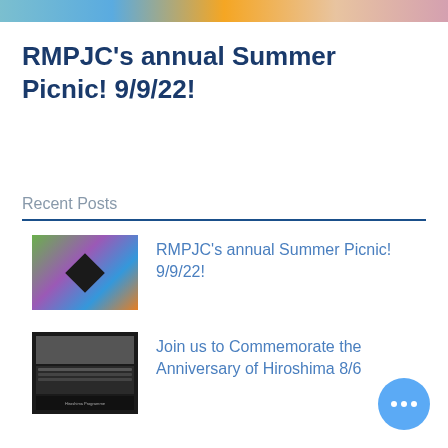[Figure (illustration): Colorful banner image at top of page with blue, orange, and pink tones]
RMPJC's annual Summer Picnic! 9/9/22!
Recent Posts
[Figure (photo): Thumbnail image for RMPJC Summer Picnic post, colorful with green, purple, blue patches and dark diamond shape in center]
RMPJC's annual Summer Picnic! 9/9/22!
[Figure (photo): Thumbnail image for Hiroshima Anniversary post, dark black and white photo with text overlay]
Join us to Commemorate the Anniversary of Hiroshima 8/6